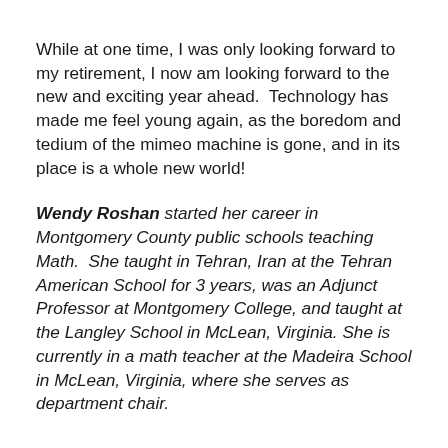While at one time, I was only looking forward to my retirement, I now am looking forward to the new and exciting year ahead.  Technology has made me feel young again, as the boredom and tedium of the mimeo machine is gone, and in its place is a whole new world!
Wendy Roshan started her career in Montgomery County public schools teaching Math.  She taught in Tehran, Iran at the Tehran American School for 3 years, was an Adjunct Professor at Montgomery College, and taught at the Langley School in McLean, Virginia. She is currently in a math teacher at the Madeira School in McLean, Virginia, where she serves as department chair.